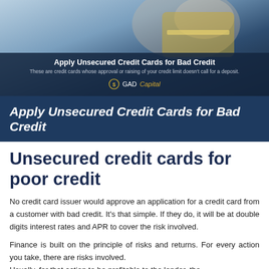[Figure (photo): A person holding a credit card in a blurred background, hero banner image for an article about unsecured credit cards for bad credit, with overlay text and GAD Capital logo.]
Apply Unsecured Credit Cards for Bad Credit
No credit card issuer would approve an application for a credit card from a customer with bad credit. It's that simple. If they do, it will be at double digits interest rates and APR to cover the risk involved.
Finance is built on the principle of risks and returns. For every action you take, there are risks involved.
Usually, for that action to be profitable to the lender, the